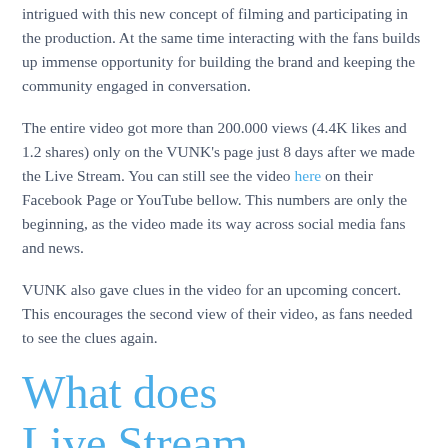intrigued with this new concept of filming and participating in the production. At the same time interacting with the fans builds up immense opportunity for building the brand and keeping the community engaged in conversation.
The entire video got more than 200.000 views (4.4K likes and 1.2 shares) only on the VUNK's page just 8 days after we made the Live Stream. You can still see the video here on their Facebook Page or YouTube bellow. This numbers are only the beginning, as the video made its way across social media fans and news.
VUNK also gave clues in the video for an upcoming concert. This encourages the second view of their video, as fans needed to see the clues again.
What does Live Stream...